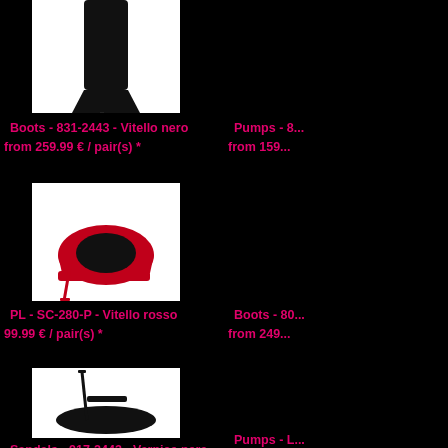[Figure (photo): Black high-heel boots on a white background, top portion partially visible]
Boots - 831-2443 - Vitello nero
from 259.99 € / pair(s) *
[Figure (photo): Red platform pump with stiletto heel on white background]
PL - SC-280-P - Vitello rosso
99.99 € / pair(s) *
[Figure (photo): Black patent open-toe slingback stiletto sandal on white background]
Sandals - 917-2443 - Vernice nera
from 129.99 € / pair(s) *
Pumps - 8...
from 159...
Boots - 80...
from 249...
Pumps - L...
from 1...